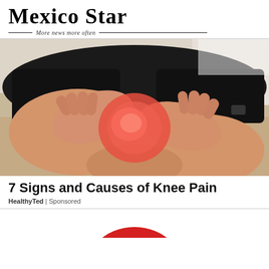Mexico Star — More news more often
[Figure (photo): Close-up photo of a person holding their knee with both hands; the knee cap area is highlighted in red/orange indicating pain]
7 Signs and Causes of Knee Pain
HealthyTed | Sponsored
[Figure (photo): Partial view of a red circular graphic at the bottom of the page, cropped]